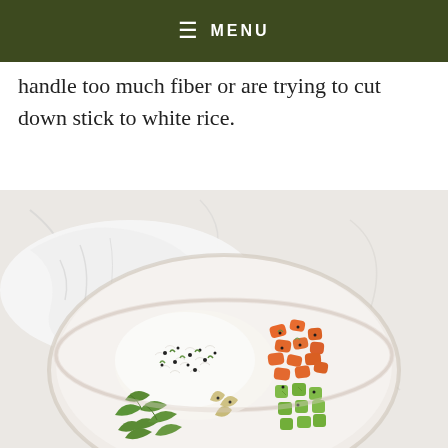≡ MENU
handle too much fiber or are trying to cut down stick to white rice.
[Figure (photo): Overhead view of a bowl containing white rice sprinkled with black sesame seeds and green herbs, sliced carrots, diced cucumber, and leafy greens, placed on a white cloth on a marble surface.]